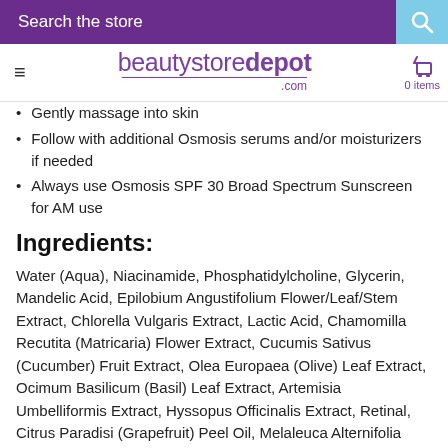Search the store
[Figure (logo): beautystoredepot.com logo with hamburger menu and cart showing 0 items]
Gently massage into skin
Follow with additional Osmosis serums and/or moisturizers if needed
Always use Osmosis SPF 30 Broad Spectrum Sunscreen for AM use
Ingredients:
Water (Aqua), Niacinamide, Phosphatidylcholine, Glycerin, Mandelic Acid, Epilobium Angustifolium Flower/Leaf/Stem Extract, Chlorella Vulgaris Extract, Lactic Acid, Chamomilla Recutita (Matricaria) Flower Extract, Cucumis Sativus (Cucumber) Fruit Extract, Olea Europaea (Olive) Leaf Extract, Ocimum Basilicum (Basil) Leaf Extract, Artemisia Umbelliformis Extract, Hyssopus Officinalis Extract, Retinal, Citrus Paradisi (Grapefruit) Peel Oil, Melaleuca Alternifolia (Tea Tree) Leaf Oil, Rubus Chamaemorus (Cloudberry) Seed Oil, Beta-Glucan, Rosmarinus Officinalis (Rosemary) Leaf Oil, Eucalyptus Globulus Leaf Oil, Lonicera Caprifolium (Honeysuckle) Flower Extract, Lonicera Japonica